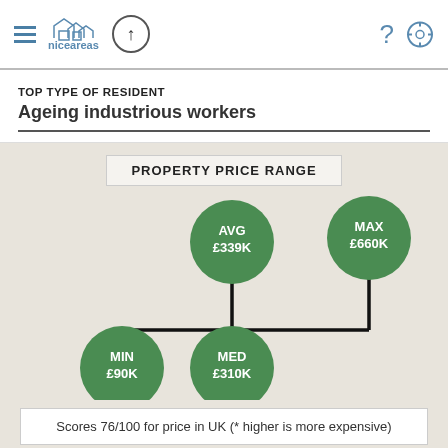niceareas
TOP TYPE OF RESIDENT
Ageing industrious workers
[Figure (infographic): Property price range infographic with four green circles: AVG £339K (top center), MAX £660K (top right), MIN £90K (bottom left), MED £310K (bottom center), connected by black lines in a tree/network pattern]
Scores 76/100 for price in UK (* higher is more expensive)
LOCAL JOBS SCORE
25